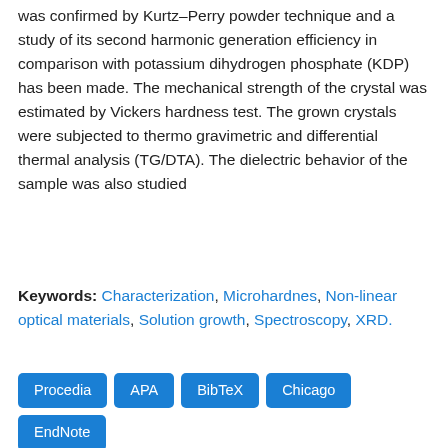was confirmed by Kurtz–Perry powder technique and a study of its second harmonic generation efficiency in comparison with potassium dihydrogen phosphate (KDP) has been made. The mechanical strength of the crystal was estimated by Vickers hardness test. The grown crystals were subjected to thermo gravimetric and differential thermal analysis (TG/DTA). The dielectric behavior of the sample was also studied
Keywords: Characterization, Microhardnes, Non-linear optical materials, Solution growth, Spectroscopy, XRD.
[Figure (other): Row of citation/export format buttons: Procedia, APA, BibTeX, Chicago, EndNote, Harvard, JSON, MLA, RIS, XML, ISO 690, PDF. Plus a Downloads 284 button and a scroll-to-top circular button.]